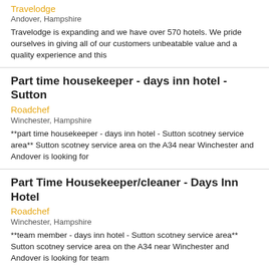Travelodge
Andover, Hampshire
Travelodge is expanding and we have over 570 hotels. We pride ourselves in giving all of our customers unbeatable value and a quality experience and this
Part time housekeeper - days inn hotel - Sutton
Roadchef
Winchester, Hampshire
**part time housekeeper - days inn hotel - Sutton scotney service area** Sutton scotney service area on the A34 near Winchester and Andover is looking for
Part Time Housekeeper/cleaner - Days Inn Hotel
Roadchef
Winchester, Hampshire
**team member - days inn hotel - Sutton scotney service area** Sutton scotney service area on the A34 near Winchester and Andover is looking for team
Part Time Housekeeper/cleaner - Days Inn Hotel
Roadchef